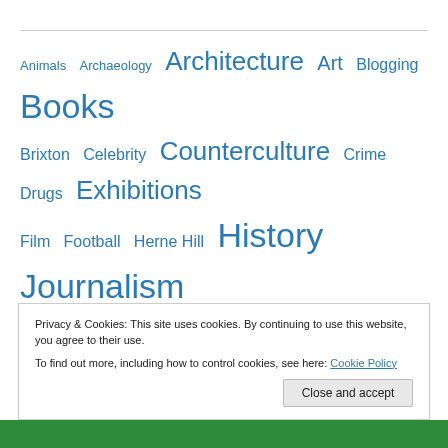Animals  Archaeology  Architecture  Art  Blogging  Books  Brixton  Celebrity  Counterculture  Crime  Drugs  Exhibitions  Film  Football  Herne Hill  History  Journalism  London  Maps  Mumbo jumbo  Museums  Music  Nostalgia  Photography  Place  Politics  Secret London  Street furniture  Transport  Uncategorized
Privacy & Cookies: This site uses cookies. By continuing to use this website, you agree to their use.
To find out more, including how to control cookies, see here: Cookie Policy
Close and accept